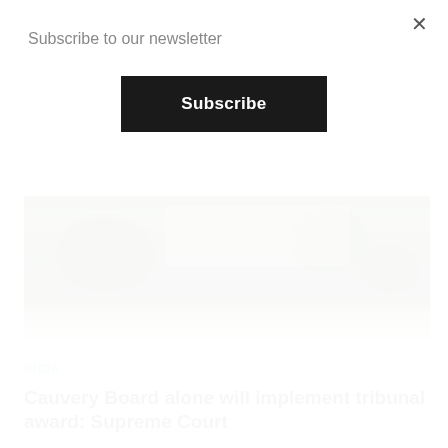Subscribe to our newsletter
Subscribe
[Figure (photo): Outdoor photo of a government building (likely Supreme Court of India) with manicured gardens, flowering plants, trees, and a large pillar visible in the center.]
INDIA
Cauvery Board alone will implement tribunal award: Supreme Court
New Delhi, May 16: The Supreme Court on Wednesday asked the Centre to modify its draft scheme for setting...
BY  ANUSHRUTI SINGH